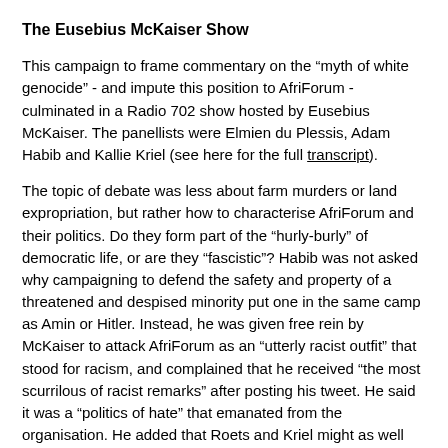The Eusebius McKaiser Show
This campaign to frame commentary on the “myth of white genocide” - and impute this position to AfriForum - culminated in a Radio 702 show hosted by Eusebius McKaiser. The panellists were Elmien du Plessis, Adam Habib and Kallie Kriel (see here for the full transcript).
The topic of debate was less about farm murders or land expropriation, but rather how to characterise AfriForum and their politics. Do they form part of the “hurly-burly” of democratic life, or are they “fascistic”? Habib was not asked why campaigning to defend the safety and property of a threatened and despised minority put one in the same camp as Amin or Hitler. Instead, he was given free rein by McKaiser to attack AfriForum as an “utterly racist outfit” that stood for racism, and complained that he received “the most scurrilous of racist remarks” after posting his tweet. He said it was a “politics of hate” that emanated from the organisation. He added that Roets and Kriel might as well have posed for a photo with the Klu Klux Klan, referring to Bolton, whom he claimed was “one of the most white-wing (sic)” politicians.
Kriel tried to point out that perhaps Habib was being intolerant